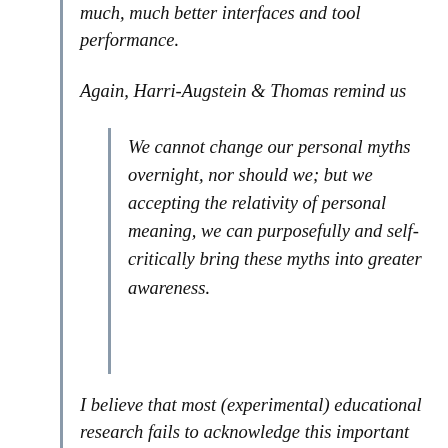much, much better interfaces and tool performance.
Again, Harri-Augstein & Thomas remind us
We cannot change our personal myths overnight, nor should we; but we accepting the relativity of personal meaning, we can purposefully and self-critically bring these myths into greater awareness.
I believe that most (experimental) educational research fails to acknowledge this important issue into account. Talking about a similar topic, Brian Lamb summed